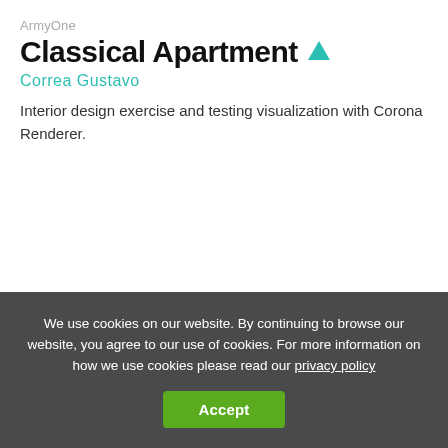ArmyOne
Classical Apartment
Correa Gustavo
Interior design exercise and testing visualization with Corona Renderer.
We use cookies on our website. By continuing to browse our website, you agree to our use of cookies. For more information on how we use cookies please read our privacy policy
Accept